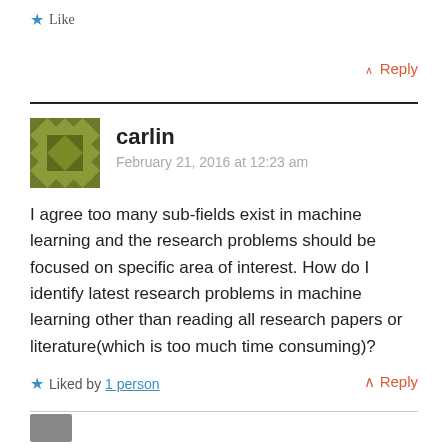★ Like
↑ Reply
carlin
February 21, 2016 at 12:23 am
I agree too many sub-fields exist in machine learning and the research problems should be focused on specific area of interest. How do I identify latest research problems in machine learning other than reading all research papers or literature(which is too much time consuming)?
★ Liked by 1 person
↑ Reply